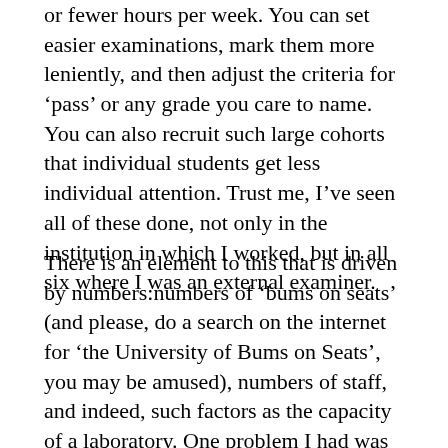or fewer hours per week. You can set easier examinations, mark them more leniently, and then adjust the criteria for ‘pass’ or any grade you care to name. You can also recruit such large cohorts that individual students get less individual attention. Trust me, I’ve seen all of these done, not only in the institution in which I worked, but in all six where I was an external examiner.
There is an element to this that is driven by numbers:numbers of ‘bums on seats’ (and please, do a search on the internet for ‘the University of Bums on Seats’, you may be amused), numbers of staff, and indeed, such factors as the capacity of a laboratory. One problem I had was fittingstudents in for laboratory sessions in a teaching lab with a safe capacity of 24. Decades ago, there weren’t such things as safe capacities, but anyway, one might